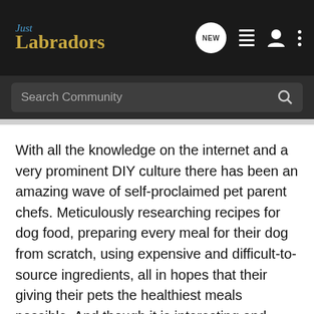Just Labradors
Search Community
With all the knowledge on the internet and a very prominent DIY culture there has been an amazing wave of self-proclaimed pet parent chefs. Meticulously researching recipes for dog food, preparing every meal for their dog from scratch, using expensive and difficult-to-source ingredients, all in hopes that their giving their pets the healthiest meals possible. And though it is interesting and entertaining the reality is not everyone has the time to do that. But the good news is there is a way to make sure your pet is eating as healthy without having to go to those extremes to ensure it. The bad news, you may not become the next viral celebrity pet